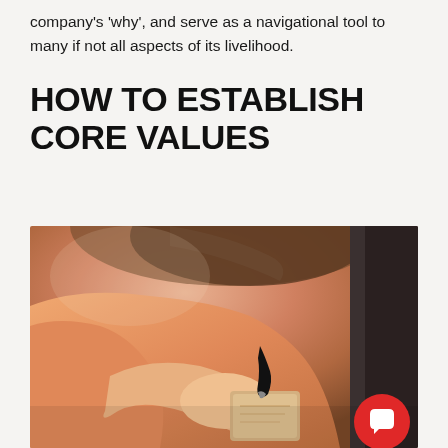company's 'why', and serve as a navigational tool to many if not all aspects of its livelihood.
HOW TO ESTABLISH CORE VALUES
[Figure (photo): Close-up photo of a person in an orange/peach top writing on a small wooden block or card with a black marker. Another person is partially visible on the right side.]